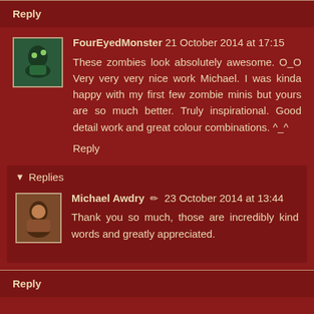Reply
FourEyedMonster 21 October 2014 at 17:15
These zombies look absolutely awesome. O_O Very very very nice work Michael. I was kinda happy with my first few zombie minis but yours are so much better. Truly inspirational. Good detail work and great colour combinations. ^_^
Reply
Replies
Michael Awdry 23 October 2014 at 13:44
Thank you so much, those are incredibly kind words and greatly appreciated.
Reply